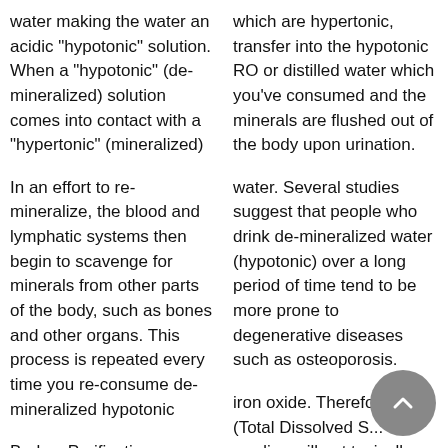water making the water an acidic "hypotonic" solution. When a "hypotonic" (de-mineralized) solution comes into contact with a "hypertonic" (mineralized)
In an effort to re-mineralize, the blood and lymphatic systems then begin to scavenge for minerals from other parts of the body, such as bones and other organs. This process is repeated every time you re-consume de-mineralized hypotonic
Berkey Purification systems do not remove the beneficial minerals from the water but they do extract harmful
which are hypertonic, transfer into the hypotonic RO or distilled water which you've consumed and the minerals are flushed out of the body upon urination.
water. Several studies suggest that people who drink de-mineralized water (hypotonic) over a long period of time tend to be more prone to degenerative diseases such as osteoporosis.
iron oxide. Therefore TDS (Total Dissolved S... reading will not typically change much unless there are